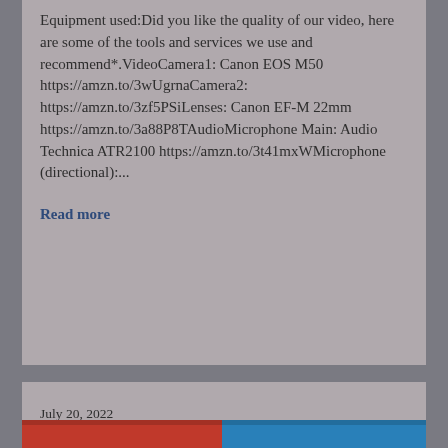Equipment used:Did you like the quality of our video, here are some of the tools and services we use and recommend*.VideoCamera1: Canon EOS M50 https://amzn.to/3wUgrnaCamera2: https://amzn.to/3zf5PSiLenses: Canon EF-M 22mm https://amzn.to/3a88P8TAudioMicrophone Main: Audio Technica ATR2100 https://amzn.to/3t41mxWMicrophone (directional):...
Read more
July 20, 2022
Patriotism vs Nationalism
[Figure (photo): Partial image strip at bottom of page showing red and blue colors, appears to be a flag or patriotic imagery]